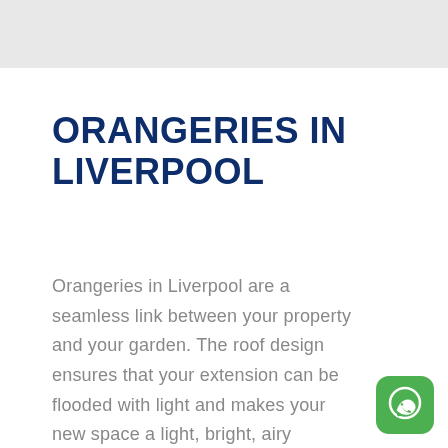ORANGERIES IN LIVERPOOL
Orangeries in Liverpool are a seamless link between your property and your garden. The roof design ensures that your extension can be flooded with light and makes your new space a light, bright, airy addition to
[Figure (logo): WhatsApp icon button - green rounded square with white phone/speech bubble logo]